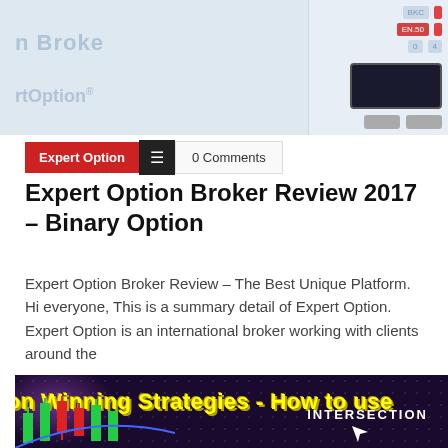[Figure (screenshot): Top banner screenshot showing Expert Option broker platform interface with phone mockup on the right side. Background is light blue-grey. Text 'n Broke' and 'rtOption' visible on left. Phone device mockup visible on right with dark trading screen.]
Expert Option   ≡   0 Comments
Expert Option Broker Review 2017 – Binary Option
Expert Option Broker Review – The Best Unique Platform. Hi everyone, This is a summary detail of Expert Option. Expert Option is an international broker working with clients around the
[Figure (screenshot): Bottom banner image showing trading chart interface with dark dotted background, yellow text 'on Winning Strategies - How to use', candlestick chart elements in red and green at bottom left, purple glow effect, and 'INTERSECTION' label with cursor arrow on the right.]